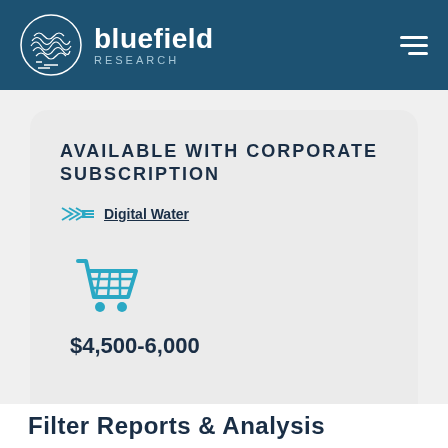[Figure (logo): Bluefield Research logo with circular waveform icon and brand name]
AVAILABLE WITH CORPORATE SUBSCRIPTION
Digital Water
[Figure (illustration): Shopping cart icon in teal/cyan color]
$4,500-6,000
Filter Reports & Analysis